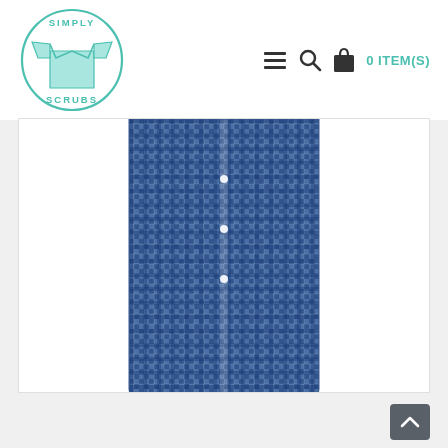[Figure (logo): Simply Scrubs circular logo with teal outline and scrubs shirt icon]
[Figure (other): Navigation icons: hamburger menu, search magnifying glass, shopping bag, and '0 ITEM(S)' cart text in teal]
[Figure (photo): Close-up product photo of a blue gingham/checkered fabric shirt with white buttons, showing curved hem at bottom]
[Figure (other): Dark grey scroll-to-top button with upward arrow chevron in bottom right corner]